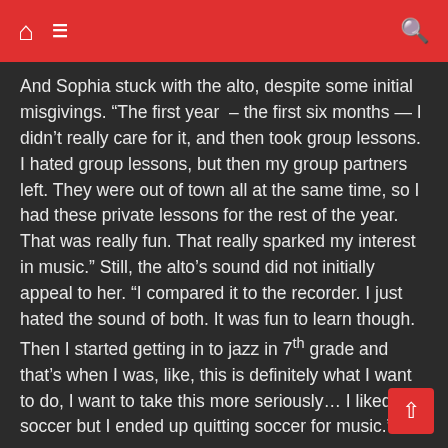[navigation bar with home, menu, and search icons]
And Sophia stuck with the alto, despite some initial misgivings. "The first year – the first six months — I didn't really care for it, and then took group lessons. I hated group lessons, but then my group partners left. They were out of town all at the same time, so I had these private lessons for the rest of the year. That was really fun. That really sparked my interest in music." Still, the alto's sound did not initially appeal to her. "I compared it to the recorder. I just hated the sound of both. It was fun to learn though. Then I started getting in to jazz in 7th grade and that's when I was, like, this is definitely what I want to do, I want to take this more seriously... I liked soccer but I ended up quitting soccer for music."
Sophia discovered jazz through the middle school jazz band. "I saw a signup sheet for jazz band. I was too young when I was in 6th grade. They only took 7th and 8th graders. So when I was in 7th grade I auditioned for it and I really liked it. It was really fun...The